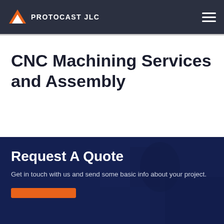PROTOCAST JLC
CNC Machining Services and Assembly
Request A Quote
Get in touch with us and send some basic info about your project.